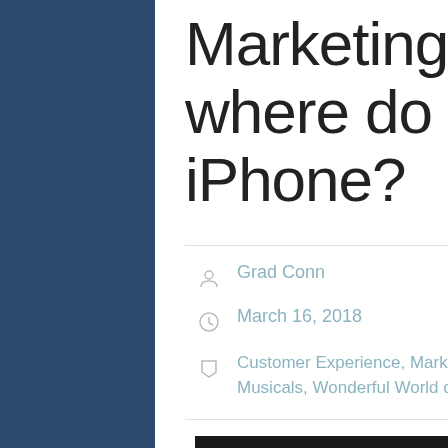Marketing Conference — where do I plug in my iPhone?
Grad Conn
March 16, 2018
Customer Experience, Marketing, Microsoft, Musicals, Wonderful World of Marketing
[Figure (screenshot): YouTube video thumbnail showing CTI Keynote: Marke... with a circular avatar portrait and three-dot menu icon on dark background]